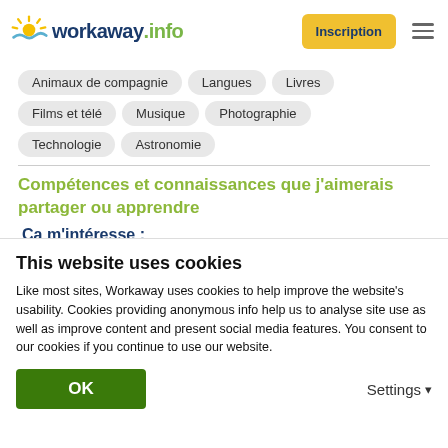workaway.info — Inscription
Animaux de compagnie
Langues
Livres
Films et télé
Musique
Photographie
Technologie
Astronomie
Compétences et connaissances que j'aimerais partager ou apprendre
Ça m'intéresse :
Aider dans une ferme
This website uses cookies
Like most sites, Workaway uses cookies to help improve the website's usability. Cookies providing anonymous info help us to analyse site use as well as improve content and present social media features.  You consent to our cookies if you continue to use our website.
OK
Settings